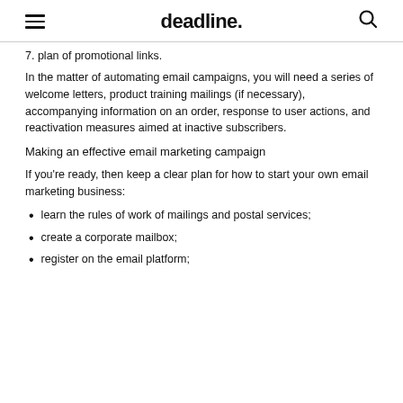deadline.
7. plan of promotional links.
In the matter of automating email campaigns, you will need a series of welcome letters, product training mailings (if necessary), accompanying information on an order, response to user actions, and reactivation measures aimed at inactive subscribers.
Making an effective email marketing campaign
If you're ready, then keep a clear plan for how to start your own email marketing business:
learn the rules of work of mailings and postal services;
create a corporate mailbox;
register on the email platform;